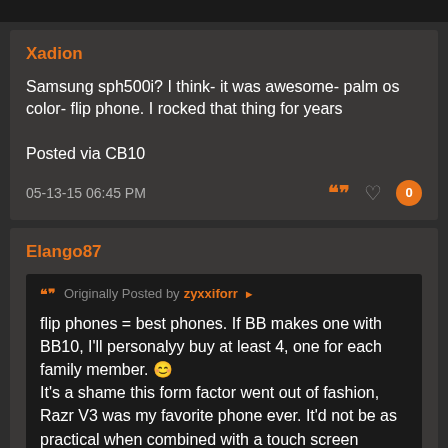Xadion
Samsung sph500i? I think- it was awesome- palm os color- flip phone. I rocked that thing for years

Posted via CB10
05-13-15 06:45 PM
Elango87
Originally Posted by zyxxiforr
flip phones = best phones. If BB makes one with BB10, I'll personalyy buy at least 4, one for each family member. 🙂
It's a shame this form factor went out of fashion, Razr V3 was my favorite phone ever. It'd not be as practical when combined with a touch screen though, as the whole thing gets